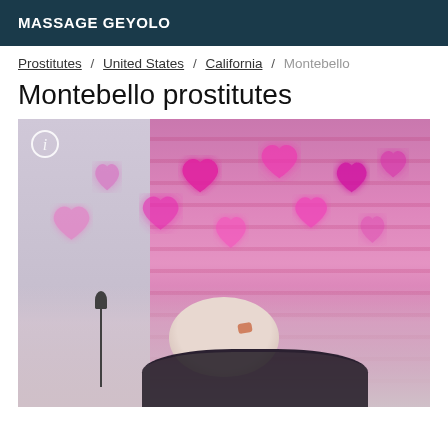MASSAGE GEYOLO
Prostitutes / United States / California / Montebello
Montebello prostitutes
[Figure (photo): Photo showing a figure with pink/magenta curtain background decorated with glowing heart-shaped bokeh lights in pink. An info icon circle appears in the upper left corner. The lower portion shows a figure in dark lace clothing with a microphone stand visible on the left side.]